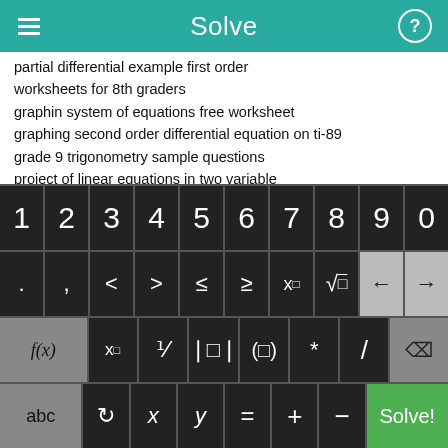Solve
partial differential example first order
worksheets for 8th graders
graphin system of equations free worksheet
graphing second order differential equation on ti-89
grade 9 trigonometry sample questions
project of linear equations in two variable
business application of mathematical expression Combination
mathmatics tricks
math pie signs
MATH/SQURE
[Figure (screenshot): Calculator keyboard with digit keys 1-9,0; symbol keys including . , < > ≤ ≥ x□ √ and navigation arrows; function keys f(x), x□, fraction, absolute value, bracket, *, /; bottom row with abc, rotate, x, y, =, +, -, and green Solve! button]